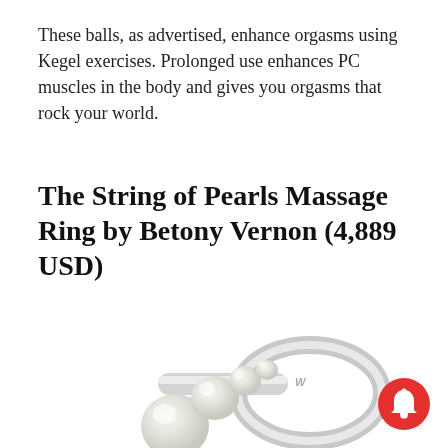These balls, as advertised, enhance orgasms using Kegel exercises. Prolonged use enhances PC muscles in the body and gives you orgasms that rock your world.
The String of Pearls Massage Ring by Betony Vernon (4,889 USD)
[Figure (photo): A silver ring with a row of graduated pearls (string of pearls massage ring), photographed on a white background. The ring has an Armani-style logo engraved on the band.]